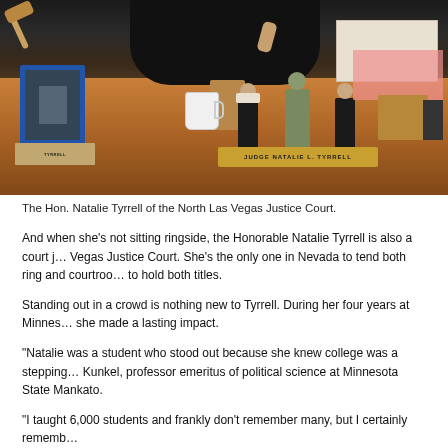[Figure (photo): Judge Natalie L. Tyrrell seated behind a wooden desk in judicial robes holding a gavel, with figurines, a photo frame, mug, nameplate reading JUDGE NATALIE L. TYRRELL, and papers on the desk.]
The Hon. Natalie Tyrrell of the North Las Vegas Justice Court.
And when she’s not sitting ringside, the Honorable Natalie Tyrrell is also a court j… Vegas Justice Court. She’s the only one in Nevada to tend both ring and courtroo… to hold both titles.
Standing out in a crowd is nothing new to Tyrrell. During her four years at Minnes… she made a lasting impact.
“Natalie was a student who stood out because she knew college was a stepping … Kunkel, professor emeritus of political science at Minnesota State Mankato.
“I taught 6,000 students and frankly don’t remember many, but I certainly rememb…